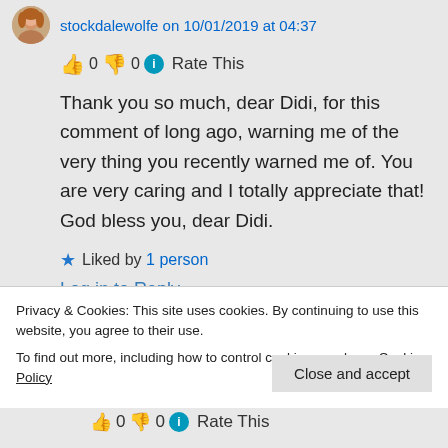stockdalewolfe on 10/01/2019 at 04:37
👍 0 👎 0 ℹ Rate This
Thank you so much, dear Didi, for this comment of long ago, warning me of the very thing you recently warned me of. You are very caring and I totally appreciate that! God bless you, dear Didi.
★ Liked by 1 person
Log in to Reply
Privacy & Cookies: This site uses cookies. By continuing to use this website, you agree to their use. To find out more, including how to control cookies, see here: Cookie Policy
Close and accept
👍 0 👎 0 ℹ Rate This